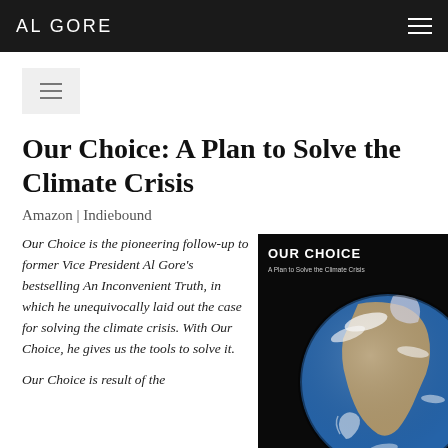AL GORE
Our Choice: A Plan to Solve the Climate Crisis
Amazon | Indiebound
Our Choice is the pioneering follow-up to former Vice President Al Gore's bestselling An Inconvenient Truth, in which he unequivocally laid out the case for solving the climate crisis. With Our Choice, he gives us the tools to solve it.
Our Choice is result of the
[Figure (photo): Book cover of 'Our Choice: A Plan to Solve the Climate Crisis' showing the Earth from space on a dark background with the title text overlaid in white.]